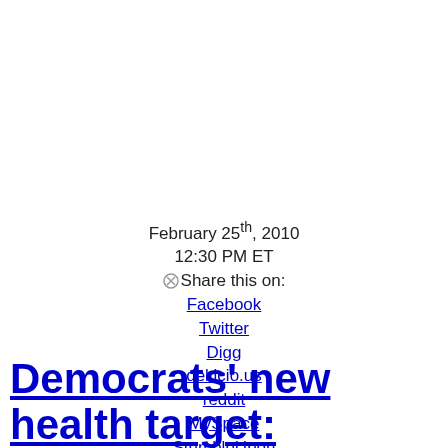February 25th, 2010
12:30 PM ET
⊗Share this on:
Facebook
Twitter
Digg
del.icio.us
reddit
MySpace
StumbleUpon
13 years ago
Democrats' new health target: